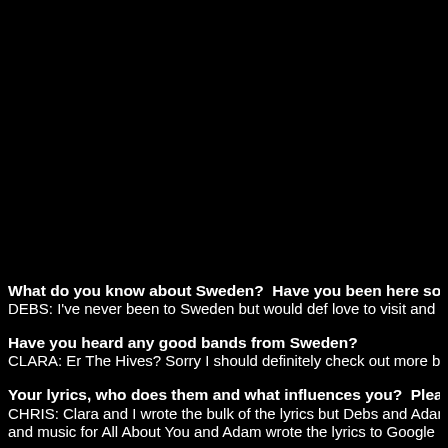What do you know about Sweden?  Have you been here sometin...
DEBS: I've never been to Sweden but would def love to visit and pl...
Have you heard any good bands from Sweden?
CLARA: Er The Hives? Sorry I should definitely check out more ba...
Your lyrics, who does them and what influences you?  Please tell...
CHRIS: Clara and I wrote the bulk of the lyrics but Debs and Adam...
and music for All About You and Adam wrote the lyrics to Google it...